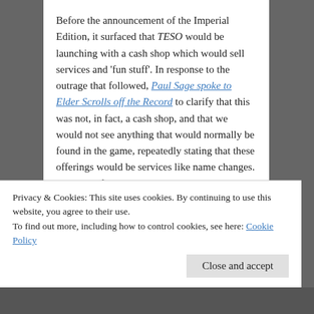Before the announcement of the Imperial Edition, it surfaced that TESO would be launching with a cash shop which would sell services and 'fun stuff'. In response to the outrage that followed, Paul Sage spoke to Elder Scrolls off the Record to clarify that this was not, in fact, a cash shop, and that we would not see anything that would normally be found in the game, repeatedly stating that these offerings would be services like name changes. In the last few days, this has emerged apparent as lie number three, as the game will now be launching with a mount in the cash shop, as well as future plans for vanity pets that may or may not be
Privacy & Cookies: This site uses cookies. By continuing to use this website, you agree to their use.
To find out more, including how to control cookies, see here: Cookie Policy